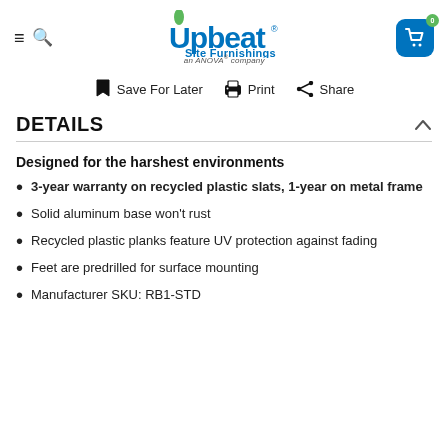Upbeat Site Furnishings — an ANOVA® company
Save For Later   Print   Share
DETAILS
Designed for the harshest environments
3-year warranty on recycled plastic slats, 1-year on metal frame
Solid aluminum base won't rust
Recycled plastic planks feature UV protection against fading
Feet are predrilled for surface mounting
Manufacturer SKU: RB1-STD